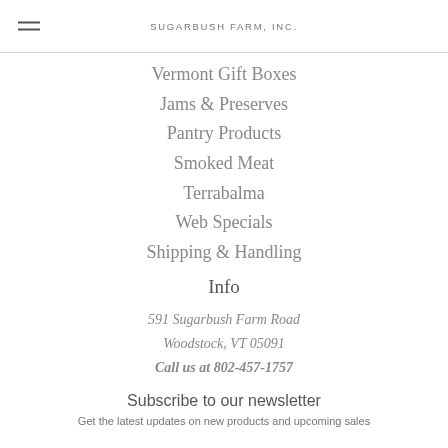SUGARBUSH FARM, INC.
Vermont Gift Boxes
Jams & Preserves
Pantry Products
Smoked Meat
Terrabalma
Web Specials
Shipping & Handling
Info
591 Sugarbush Farm Road
Woodstock, VT 05091
Call us at 802-457-1757
Subscribe to our newsletter
Get the latest updates on new products and upcoming sales